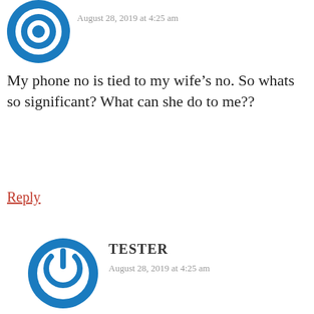[Figure (logo): Blue circular power/target icon avatar for first commenter]
August 28, 2019 at 4:25 am
My phone no is tied to my wife’s no. So whats so significant? What can she do to me??
Reply
[Figure (logo): Blue circular power button icon avatar for TESTER]
TESTER
August 28, 2019 at 4:25 am
SayaKenaHack.com
Check if your IC Number that has been compromised in the telco breach

IC Number (no dashes or spaces)*
000000000000
CHECK